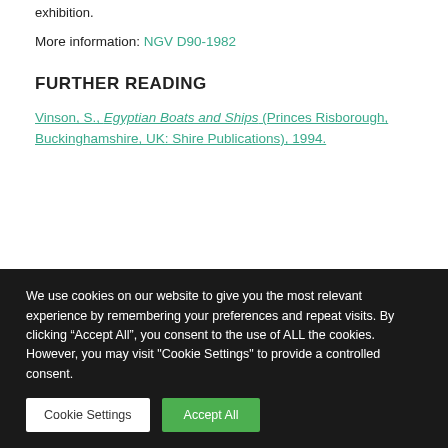exhibition.
More information: NGV D90-1982
FURTHER READING
Vinson, S., Egyptian Boats and Ships (Princes Risborough, Buckinghamshire, UK: Shire Publications), 1994.
We use cookies on our website to give you the most relevant experience by remembering your preferences and repeat visits. By clicking “Accept All”, you consent to the use of ALL the cookies. However, you may visit "Cookie Settings" to provide a controlled consent.